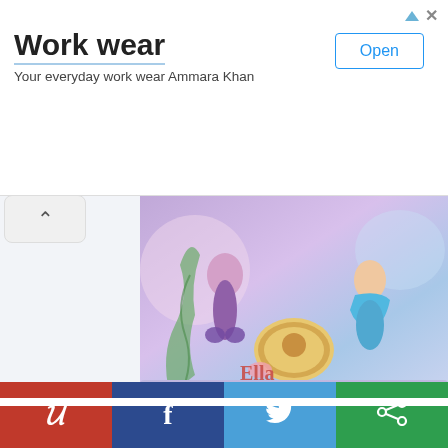[Figure (screenshot): Advertisement banner for 'Work wear' by Ammara Khan with an 'Open' button]
Work wear
Your everyday work wear Ammara Khan
[Figure (photo): Cute chibi Little Mermaid cake with fondant figures of Ariel and a birthday girl as a mermaid, with decorative elements]
Cute chibi Little Mermaid Cake
This cute chibi Little Mermaid cake features fondant figures of Ariel and the birthday girl as a mermaid.
This wonderful cake was made by C For Cupcakes.